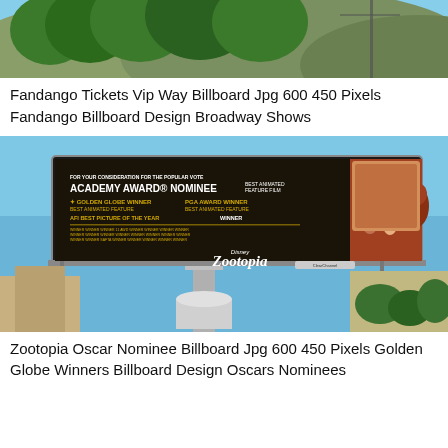[Figure (photo): Billboard photo showing a Fandango Tickets Vip Way billboard against a hillside with trees and blue sky]
Fandango Tickets Vip Way Billboard Jpg 600 450 Pixels Fandango Billboard Design Broadway Shows
[Figure (photo): Zootopia Oscar Nominee billboard on a tall structure against blue sky, showing Academy Award Nominee for Best Animated Feature Film, Golden Globe Winner, PGA Award Winner, AFI Best Picture of the Year, Disney Zootopia with animated characters]
Zootopia Oscar Nominee Billboard Jpg 600 450 Pixels Golden Globe Winners Billboard Design Oscars Nominees